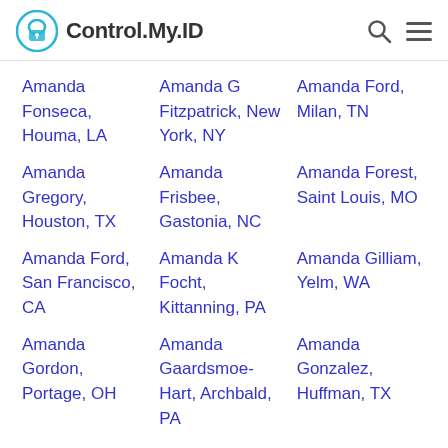Control.My.ID
Amanda Fonseca, Houma, LA
Amanda G Fitzpatrick, New York, NY
Amanda Ford, Milan, TN
Amanda Gregory, Houston, TX
Amanda Frisbee, Gastonia, NC
Amanda Forest, Saint Louis, MO
Amanda Ford, San Francisco, CA
Amanda K Focht, Kittanning, PA
Amanda Gilliam, Yelm, WA
Amanda Gordon, Portage, OH
Amanda Gaardsmoe-Hart, Archbald, PA
Amanda Gonzalez, Huffman, TX